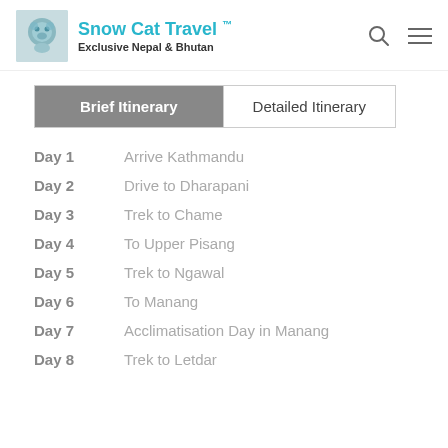Snow Cat Travel™ — Exclusive Nepal & Bhutan
Brief Itinerary | Detailed Itinerary
Day 1   Arrive Kathmandu
Day 2   Drive to Dharapani
Day 3   Trek to Chame
Day 4   To Upper Pisang
Day 5   Trek to Ngawal
Day 6   To Manang
Day 7   Acclimatisation Day in Manang
Day 8   Trek to Letdar